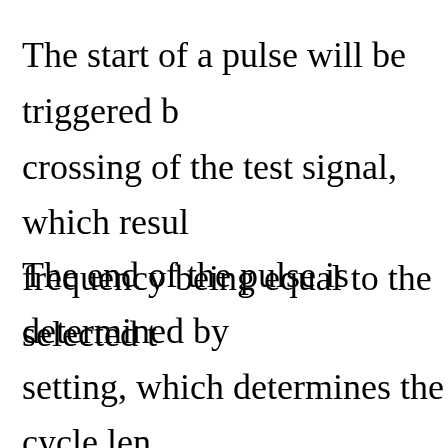The start of a pulse will be triggered b crossing of the test signal, which resul frequency being equal to the selected t
The end of the pulse is determined by setting, which determines the cycle len control, however, has no effect when t